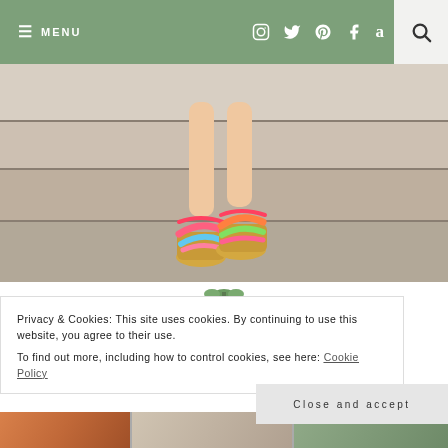≡ MENU  [social icons: Instagram, Twitter, Pinterest, Facebook, Amazon]  [search icon]
[Figure (photo): Close-up photo of a woman's legs wearing colorful floral espadrille wedge sandals, standing on concrete steps]
[Figure (photo): Small decorative plant/greenery image]
Privacy & Cookies: This site uses cookies. By continuing to use this website, you agree to their use.
To find out more, including how to control cookies, see here: Cookie Policy
Close and accept
[Figure (photo): Bottom strip showing three thumbnail photos]